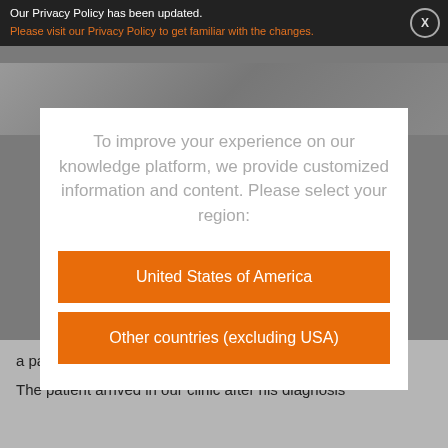Our Privacy Policy has been updated. Please visit our Privacy Policy to get familiar with the changes.
To improve your experience on our knowledge platform, we provide customized information and content. Please select your region:
United States of America
Other countries (excluding USA)
a patient with a left hemiplegia.
The patient arrived in our clinic after his diagnosis